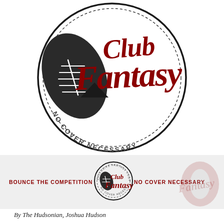[Figure (logo): Club Fantasy logo: large circular badge with a football graphic on the left, bold dark red brush-script text reading 'Club Fantasy' in the center, and curved text along the bottom reading 'NO COVER NECESSARY' in dark gray. The circle outline is dark/black.]
[Figure (logo): Banner with light gray background. Left text: 'BOUNCE THE COMPETITION' in dark red caps. Center: smaller Club Fantasy circular badge logo with text 'EXCLUSIVE FANTASY FOOTBALL ADVICE / CLUB FANTASY / NO COVER NECESSARY'. Right text: 'NO COVER NECESSARY' in dark red caps. A faded heart/football watermark on the right side.]
By The Hudsonian, Joshua Hudson